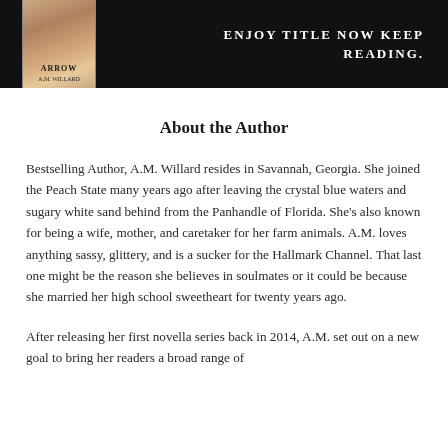[Figure (illustration): Dark banner with a book cover on the left showing 'ARROW' by A.M. Willard and promotional text on the right reading 'ENJOY TITLE NOW KEEP READING.' in white uppercase letters on black background.]
About the Author
Bestselling Author, A.M. Willard resides in Savannah, Georgia. She joined the Peach State many years ago after leaving the crystal blue waters and sugary white sand behind from the Panhandle of Florida. She's also known for being a wife, mother, and caretaker for her farm animals. A.M. loves anything sassy, glittery, and is a sucker for the Hallmark Channel. That last one might be the reason she believes in soulmates or it could be because she married her high school sweetheart for twenty years ago.
After releasing her first novella series back in 2014, A.M. set out on a new goal to bring her readers a broad range of